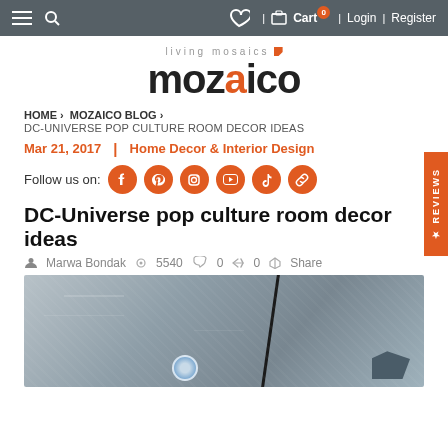Cart  Login  Register
[Figure (logo): living mosaics mozaico logo with orange accent]
HOME > MOZAICO BLOG > DC-UNIVERSE POP CULTURE ROOM DECOR IDEAS
Mar 21, 2017  |  Home Decor & Interior Design
Follow us on: [social icons: Facebook, Pinterest, Instagram, YouTube, TikTok, Link]
DC-Universe pop culture room decor ideas
Marwa Bondak  5540  0  0  Share
[Figure (photo): Hero image showing a mosaic or artistic rendering related to DC Universe, grey/blue tones with a diagonal dark line and partial colored figure at bottom]